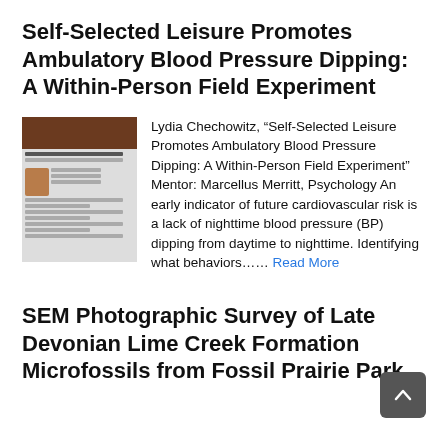Self-Selected Leisure Promotes Ambulatory Blood Pressure Dipping: A Within-Person Field Experiment
[Figure (photo): Thumbnail image of a research poster about blood pressure dipping study]
Lydia Chechowitz, “Self-Selected Leisure Promotes Ambulatory Blood Pressure Dipping: A Within-Person Field Experiment” Mentor: Marcellus Merritt, Psychology An early indicator of future cardiovascular risk is a lack of nighttime blood pressure (BP) dipping from daytime to nighttime. Identifying what behaviors…… Read More
SEM Photographic Survey of Late Devonian Lime Creek Formation Microfossils from Fossil Prairie Park